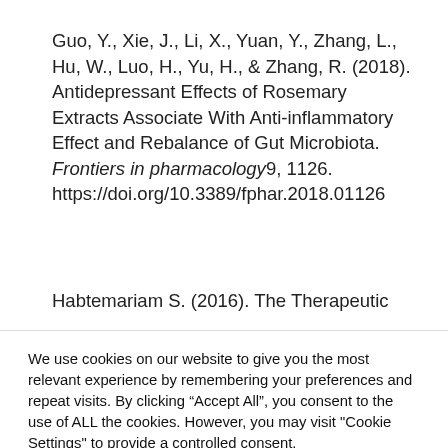Guo, Y., Xie, J., Li, X., Yuan, Y., Zhang, L., Hu, W., Luo, H., Yu, H., & Zhang, R. (2018). Antidepressant Effects of Rosemary Extracts Associate With Anti-inflammatory Effect and Rebalance of Gut Microbiota. Frontiers in pharmacology9, 1126. https://doi.org/10.3389/fphar.2018.01126
Habtemariam S. (2016). The Therapeutic
We use cookies on our website to give you the most relevant experience by remembering your preferences and repeat visits. By clicking “Accept All”, you consent to the use of ALL the cookies. However, you may visit "Cookie Settings" to provide a controlled consent.